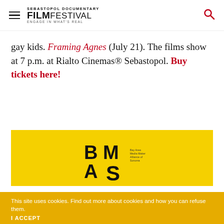Sebastopol Documentary Film Festival — Engage in What's Real
gay kids. Framing Agnes (July 21). The films show at 7 p.m. at Rialto Cinemas® Sebastopol. Buy tickets here!
[Figure (logo): BMAS logo on yellow background — stylized bold letters B, M, A, S arranged in a grid pattern with small text]
This site uses cookies. Find out more about cookies and how you can refuse them.
I ACCEPT